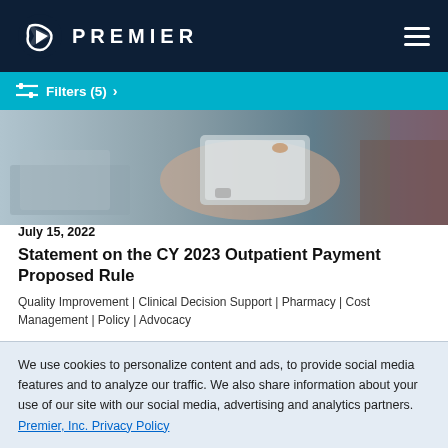PREMIER
Filters (5) >
[Figure (photo): Close-up photo of a person in a white coat using a tablet device, with a watch visible on their wrist and office equipment in the background.]
July 15, 2022
Statement on the CY 2023 Outpatient Payment Proposed Rule
Quality Improvement | Clinical Decision Support | Pharmacy | Cost Management | Policy | Advocacy
Premier responds to CMS' proposed policies on the CY 2023
We use cookies to personalize content and ads, to provide social media features and to analyze our traffic. We also share information about your use of our site with our social media, advertising and analytics partners. Premier, Inc. Privacy Policy